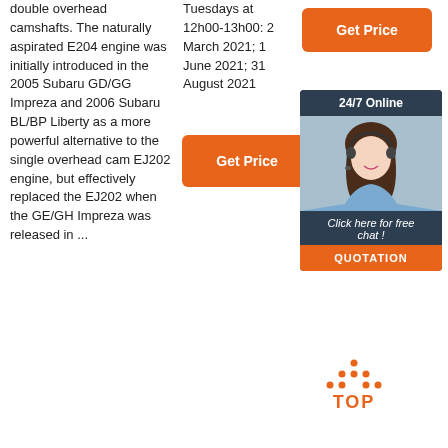double overhead camshafts. The naturally aspirated E204 engine was initially introduced in the 2005 Subaru GD/GG Impreza and 2006 Subaru BL/BP Liberty as a more powerful alternative to the single overhead cam EJ202 engine, but effectively replaced the EJ202 when the GE/GH Impreza was released in ...
Tuesdays at 12h00-13h00: 2 March 2021; 1 June 2021; 31 August 2021
[Figure (other): Orange 'Get Price' button (top right)]
[Figure (other): Orange 'Get Price' button (middle)]
[Figure (other): Sidebar ad with '24/7 Online' header, photo of woman with headset, 'Click here for free chat!' text, and orange QUOTATION button]
[Figure (other): Orange TOP navigation button with dots forming arrow/triangle shape]